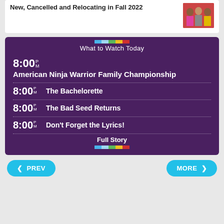New, Cancelled and Relocating in Fall 2022
[Figure (photo): Three women posing together]
What to Watch Today
8:00 PM  American Ninja Warrior Family Championship
8:00 PM  The Bachelorette
8:00 PM  The Bad Seed Returns
8:00 PM  Don't Forget the Lyrics!
Full Story
< PREV
MORE >